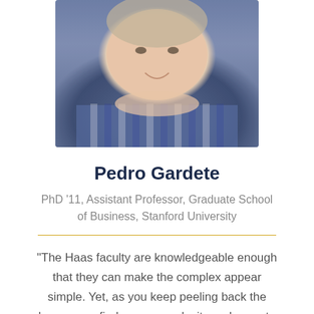[Figure (photo): Headshot photo of Pedro Gardete, a smiling man wearing a blue plaid shirt, photographed at close range with a blurred background.]
Pedro Gardete
PhD '11, Assistant Professor, Graduate School of Business, Stanford University
"The Haas faculty are knowledgeable enough that they can make the complex appear simple. Yet, as you keep peeling back the layers, you find more complexity and more to